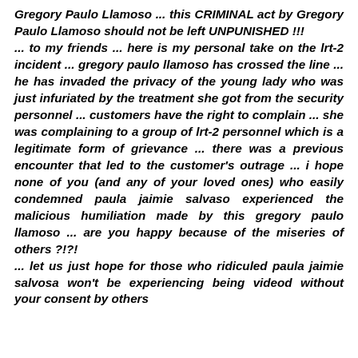Gregory Paulo Llamoso ... this CRIMINAL act by Gregory Paulo Llamoso should not be left UNPUNISHED !!! ... to my friends ... here is my personal take on the lrt-2 incident ... gregory paulo llamoso has crossed the line ... he has invaded the privacy of the young lady who was just infuriated by the treatment she got from the security personnel ... customers have the right to complain ... she was complaining to a group of lrt-2 personnel which is a legitimate form of grievance ... there was a previous encounter that led to the customer's outrage ... i hope none of you (and any of your loved ones) who easily condemned paula jaimie salvaso experienced the malicious humiliation made by this gregory paulo llamoso ... are you happy because of the miseries of others ?!?! ... let us just hope for those who ridiculed paula jaimie salvosa won't be experiencing being videod without your consent by others